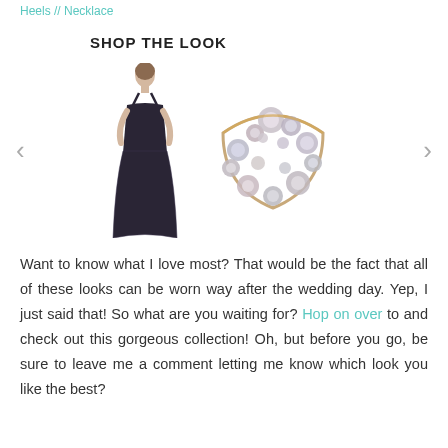Heels // Necklace
SHOP THE LOOK
[Figure (photo): Carousel showing two product images: a dark navy sleeveless maxi dress on a woman model, and a large crystal/pearl statement necklace. Left and right navigation arrows flank the images.]
Want to know what I love most? That would be the fact that all of these looks can be worn way after the wedding day. Yep, I just said that! So what are you waiting for? Hop on over to and check out this gorgeous collection! Oh, but before you go, be sure to leave me a comment letting me know which look you like the best?